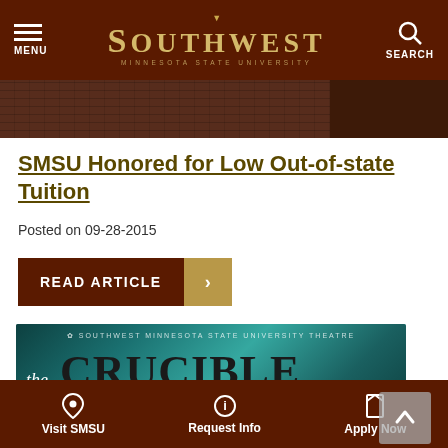MENU | SOUTHWEST MINNESOTA STATE UNIVERSITY | SEARCH
[Figure (photo): Dark partial building/campus image strip]
SMSU Honored for Low Out-of-state Tuition
Posted on 09-28-2015
READ ARTICLE
[Figure (illustration): Southwest Minnesota State University Theatre poster for 'the Crucible by Arthur Miller' with teal/green artistic background and silhouettes]
CLOSE
Visit SMSU | Request Info | Apply Now